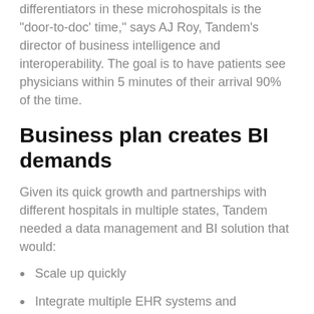differentiators in these microhospitals is the 'door-to-doc' time," says AJ Roy, Tandem's director of business intelligence and interoperability. The goal is to have patients see physicians within 5 minutes of their arrival 90% of the time.
Business plan creates BI demands
Given its quick growth and partnerships with different hospitals in multiple states, Tandem needed a data management and BI solution that would:
Scale up quickly
Integrate multiple EHR systems and workflows into one platform
Deliver insights into the operations of hospitals across the country
Minimize patient wait times